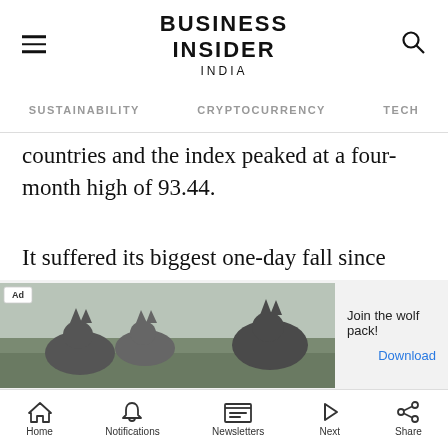BUSINESS INSIDER INDIA
SUSTAINABILITY   CRYPTOCURRENCY   TECH
countries and the index peaked at a four-month high of 93.44.
It suffered its biggest one-day fall since November on Friday, when nonfarm payrolls figures showed the US economy added just 266,000 jobs in April, compared to the 1 million economists had been expecting.
[Figure (photo): Advertisement banner showing wolves with text 'Join the wolf pack!' and a Download link]
Home   Notifications   Newsletters   Next   Share